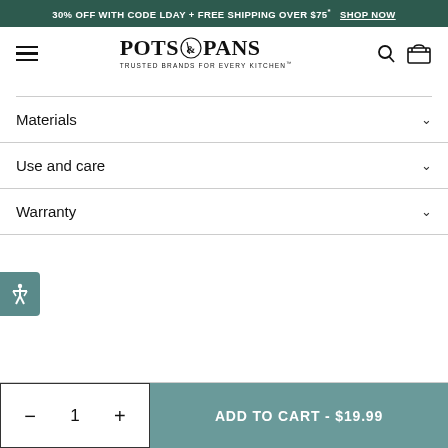30% OFF WITH CODE LDAY + FREE SHIPPING OVER $75* SHOP NOW
[Figure (logo): POTS & PANS logo with tagline TRUSTED BRANDS FOR EVERY KITCHEN]
Materials
Use and care
Warranty
ADD TO CART - $19.99